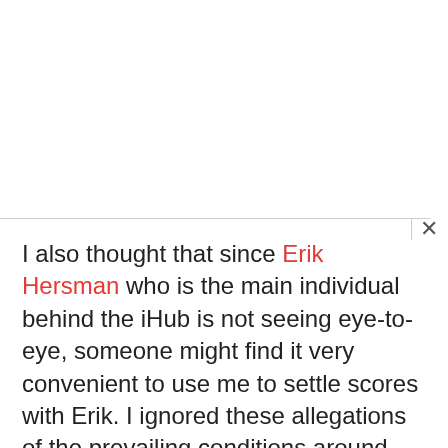I also thought that since Erik Hersman who is the main individual behind the iHub is not seeing eye-to-eye, someone might find it very convenient to use me to settle scores with Erik. I ignored these allegations of the prevailing conditions around iHub especially those where allegations of rape, attempted rape, robbery and petty thievery were concerned.
This changed when Idd Salim, who has to rely on handouts from Erik, decided to put it down on a blog post. You need to read in on his blog. The incidents